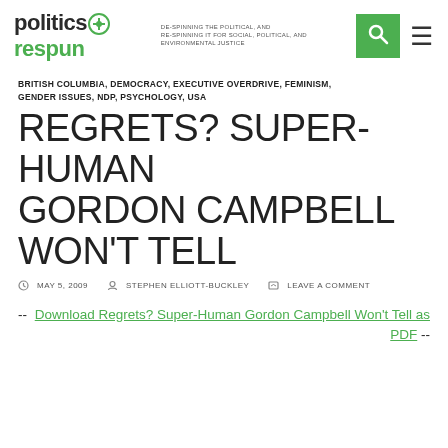politics respun — DE-SPINNING THE POLITICAL, AND RE-SPINNING IT FOR SOCIAL, POLITICAL, AND ENVIRONMENTAL JUSTICE
BRITISH COLUMBIA, DEMOCRACY, EXECUTIVE OVERDRIVE, FEMINISM, GENDER ISSUES, NDP, PSYCHOLOGY, USA
REGRETS? SUPER-HUMAN GORDON CAMPBELL WON'T TELL
MAY 5, 2009  STEPHEN ELLIOTT-BUCKLEY  LEAVE A COMMENT
-- Download Regrets? Super-Human Gordon Campbell Won't Tell as PDF --